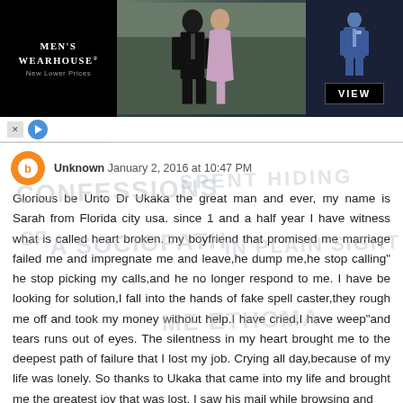[Figure (other): Men's Wearhouse advertisement banner with couple in formal wear and man in blue suit, with VIEW button]
Reply
[Figure (other): Watermark text overlay reading CONFESSIONS OF A SOCIOPATH IN PLAIN SIGHT SPENT HIDING and NE ETHOMA in light grey handwriting style]
Unknown January 2, 2016 at 10:47 PM

Glorious be Unto Dr Ukaka the great man and ever, my name is Sarah from Florida city usa. since 1 and a half year I have witness what is called heart broken. my boyfriend that promised me marriage failed me and impregnate me and leave,he dump me,he stop calling" he stop picking my calls,and he no longer respond to me. I have be looking for solution,I fall into the hands of fake spell caster,they rough me off and took my money without help.I have cried,I have weep"and tears runs out of eyes. The silentness in my heart brought me to the deepest path of failure that I lost my job. Crying all day,because of my life was lonely. So thanks to Ukaka that came into my life and brought me the greatest joy that was lost. I saw his mail while browsing and